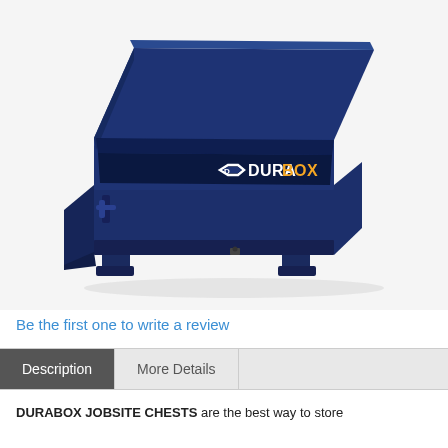[Figure (photo): DURABOX brand navy blue steel jobsite chest/tool box with open lid, showing interior, with forklift pockets at base. The DURABOX logo is on the front face in white and orange lettering.]
Be the first one to write a review
Description | More Details
DURABOX JOBSITE CHESTS are the best way to store